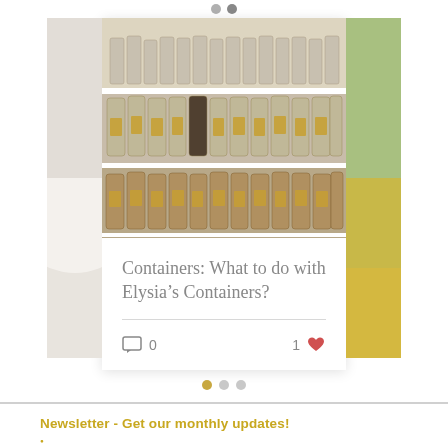[Figure (photo): Carousel navigation dots at top — two gray dots]
[Figure (photo): Partial left side image — blurred white/cream bowl or plate]
[Figure (photo): Main card photo — rows of glass specimen/spice jars on white shelves with gold labels]
[Figure (photo): Partial right side image — green field/landscape]
Containers: What to do with Elysia’s Containers?
0 comments, 1 like
[Figure (other): Carousel navigation dots at bottom — first dot filled gold/yellow, two gray dots]
Newsletter - Get our monthly updates!
*
Email Address